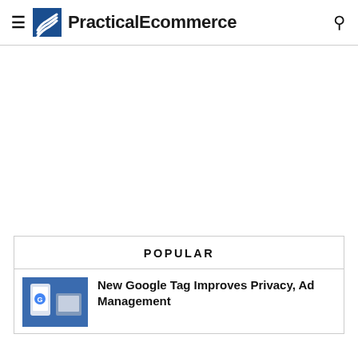PracticalEcommerce
[Figure (illustration): Large blank white advertisement space]
POPULAR
[Figure (photo): Thumbnail image showing a hand holding a phone near a cardboard box, with a blue Google icon visible on the phone screen]
New Google Tag Improves Privacy, Ad Management